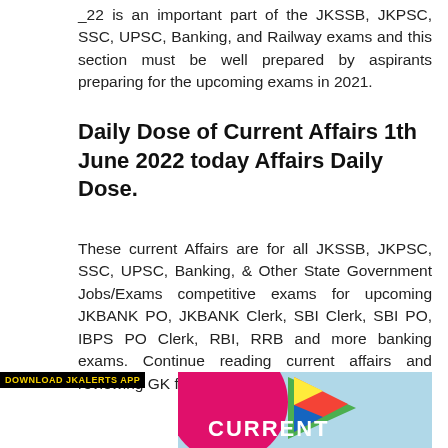_22 is an important part of the JKSSB, JKPSC, SSC, UPSC, Banking, and Railway exams and this section must be well prepared by aspirants preparing for the upcoming exams in 2021.
Daily Dose of Current Affairs 1th June 2022 today Affairs Daily Dose.
These current Affairs are for all JKSSB, JKPSC, SSC, UPSC, Banking, & Other State Government Jobs/Exams competitive exams for upcoming JKBANK PO, JKBANK Clerk, SBI Clerk, SBI PO, IBPS PO Clerk, RBI, RRB and more banking exams. Continue reading current affairs and reviewing GK facts.
[Figure (illustration): Promotional banner for JKALERTS app showing a play button icon, pink circle, light blue background, and the word CURRENT in white bold text. A black badge reads DOWNLOAD JKALERTS APP in yellow.]